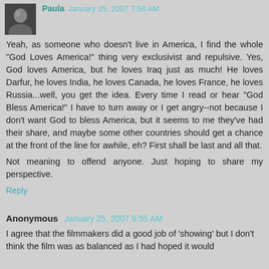Paula January 25, 2007 7:58 AM
Yeah, as someone who doesn't live in America, I find the whole "God Loves America!" thing very exclusivist and repulsive. Yes, God loves America, but he loves Iraq just as much! He loves Darfur, he loves India, he loves Canada, he loves France, he loves Russia...well, you get the idea. Every time I read or hear "God Bless America!" I have to turn away or I get angry--not because I don't want God to bless America, but it seems to me they've had their share, and maybe some other countries should get a chance at the front of the line for awhile, eh? First shall be last and all that.
Not meaning to offend anyone. Just hoping to share my perspective.
Reply
Anonymous January 25, 2007 9:55 AM
I agree that the filmmakers did a good job of 'showing' but I don't think the film was as balanced as I had hoped it would